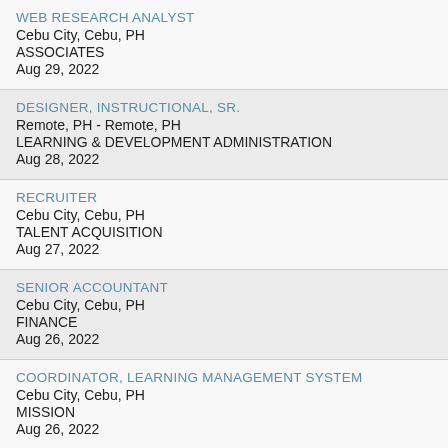WEB RESEARCH ANALYST
Cebu City, Cebu, PH
ASSOCIATES
Aug 29, 2022
DESIGNER, INSTRUCTIONAL, SR.
Remote, PH - Remote, PH
LEARNING & DEVELOPMENT ADMINISTRATION
Aug 28, 2022
RECRUITER
Cebu City, Cebu, PH
TALENT ACQUISITION
Aug 27, 2022
SENIOR ACCOUNTANT
Cebu City, Cebu, PH
FINANCE
Aug 26, 2022
COORDINATOR, LEARNING MANAGEMENT SYSTEM
Cebu City, Cebu, PH
MISSION
Aug 26, 2022